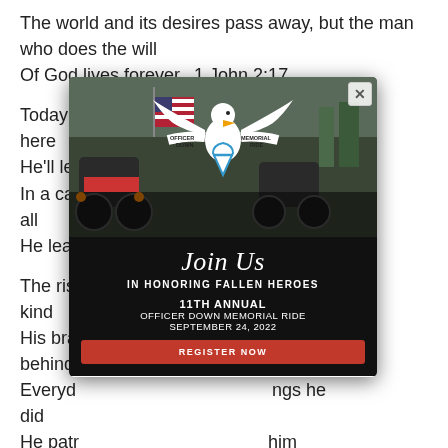The world and its desires pass away, but the man who does the will
Of God lives forever...1 John 2:17
Today w                                             om here
He'll lea                                           dear
In a ca                                             ve his all
He leav                                             call
The ris                                             que kind
His bra                                             a world behind
Everyd                                             ngs he did
He patr                                             him
goodbye we bid
[Figure (other): Popup modal overlay: Officer Down Memorial Ride promotional popup. Shows motorcycle rally photo background with American flag and motorcycles. Eagle logo with banner reading OFFICER DOWN MEMORIAL RIDE. Text: Join Us IN HONORING FALLEN HEROES 11TH ANNUAL OFFICER DOWN MEMORIAL RIDE SEPTEMBER 24, 2022. Red REGISTER NOW button. Close (X) button in top right corner.]
Don't worry our brother in blue you'll always be a part of our mind
We'll always recall the bright face you bore one that's so